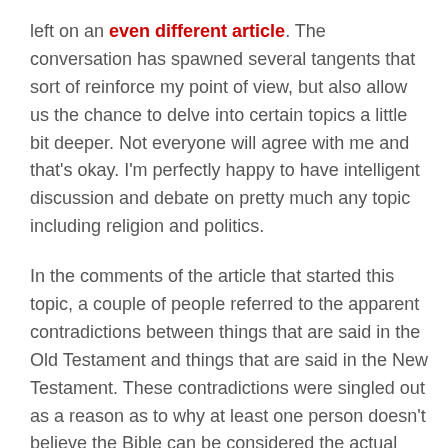left on an even different article. The conversation has spawned several tangents that sort of reinforce my point of view, but also allow us the chance to delve into certain topics a little bit deeper. Not everyone will agree with me and that's okay. I'm perfectly happy to have intelligent discussion and debate on pretty much any topic including religion and politics.
In the comments of the article that started this topic, a couple of people referred to the apparent contradictions between things that are said in the Old Testament and things that are said in the New Testament. These contradictions were singled out as a reason as to why at least one person doesn't believe the Bible can be considered the actual word of God.